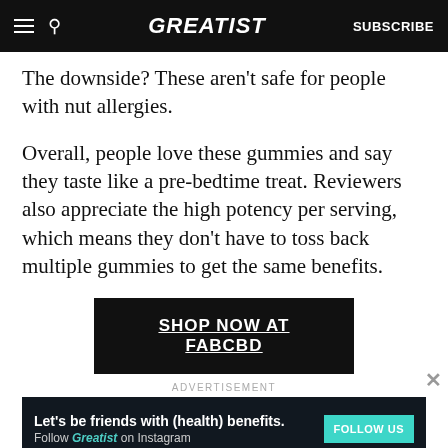GREATIST | SUBSCRIBE
The downside? These aren't safe for people with nut allergies.
Overall, people love these gummies and say they taste like a pre-bedtime treat. Reviewers also appreciate the high potency per serving, which means they don't have to toss back multiple gummies to get the same benefits.
SHOP NOW AT FABCBD
ADVERTISEMENT
Let's be friends with (health) benefits. Follow GREATIST on Instagram FOLLOW US